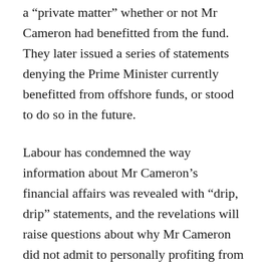a “private matter” whether or not Mr Cameron had benefitted from the fund. They later issued a series of statements denying the Prime Minister currently benefitted from offshore funds, or stood to do so in the future.
Labour has condemned the way information about Mr Cameron’s financial affairs was revealed with “drip, drip” statements, and the revelations will raise questions about why Mr Cameron did not admit to personally profiting from an offshore fund until five days after the Panama Papers were leaked.
But in an interview with ITV News, he insisted